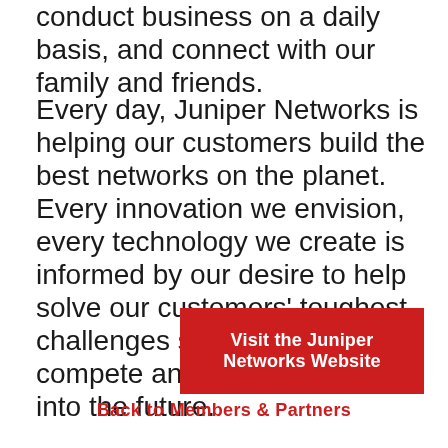conduct business on a daily basis, and connect with our family and friends.
Every day, Juniper Networks is helping our customers build the best networks on the planet. Every innovation we envision, every technology we create is informed by our desire to help solve our customers' toughest challenges so they can compete and thrive today and into the future.
Visit the Juniper Networks Website
Back to Members & Partners